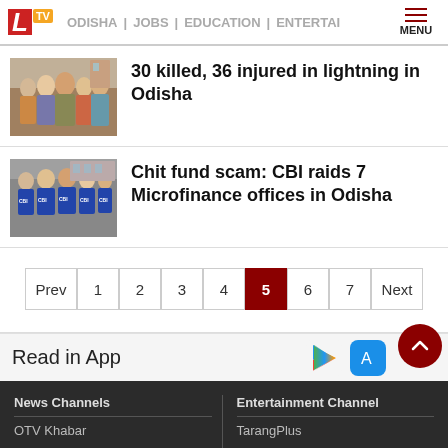LTV | ODISHA | JOBS | EDUCATION | ENTERTAI | MENU
30 killed, 36 injured in lightning in Odisha
Chit fund scam: CBI raids 7 Microfinance offices in Odisha
Prev 1 2 3 4 5 6 7 Next
Read in App
News Channels | Entertainment Channel | OTV Khabar | TarangPlus